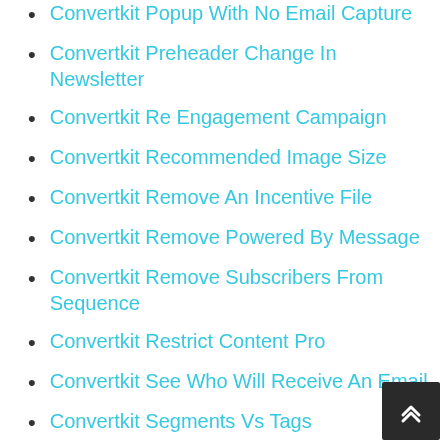Convertkit Popup With No Email Capture
Convertkit Preheader Change In Newsletter
Convertkit Re Engagement Campaign
Convertkit Recommended Image Size
Convertkit Remove An Incentive File
Convertkit Remove Powered By Message
Convertkit Remove Subscribers From Sequence
Convertkit Restrict Content Pro
Convertkit See Who Will Receive An Email
Convertkit Segments Vs Tags